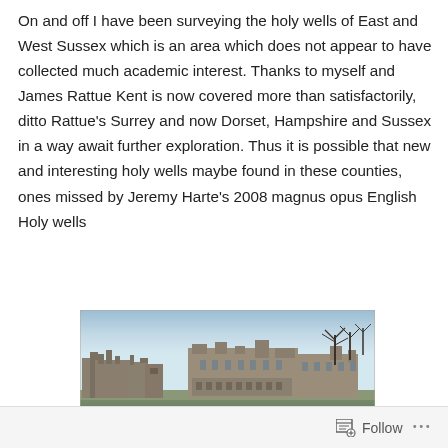On and off I have been surveying the holy wells of East and West Sussex which is an area which does not appear to have collected much academic interest. Thanks to myself and James Rattue Kent is now covered more than satisfactorily, ditto Rattue's Surrey and now Dorset, Hampshire and Sussex in a way await further exploration. Thus it is possible that new and interesting holy wells maybe found in these counties, ones missed by Jeremy Harte's 2008 magnus opus English Holy wells
[Figure (photo): Photograph of a medieval castle ruin on the left and a stone manor house on the right, with bare winter trees and a grassy foreground under a blue sky.]
Follow ···